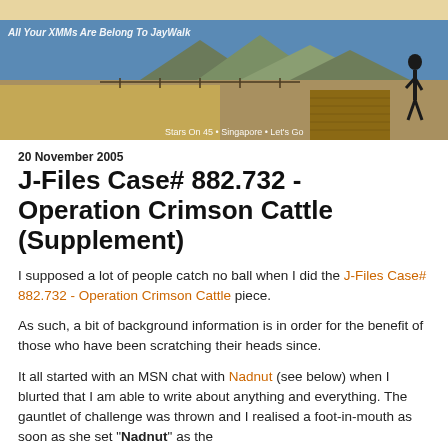[Figure (photo): Blog header banner showing a rural landscape with mountains, fields, a wooden boardwalk, and a person standing on the right. Text overlay reads 'All Your XMMs Are Belong To JayWalk' on the left and 'Stars On 45 • Singapore • Let's Go' on the bottom right. Background is a sandy/tan color at top.]
20 November 2005
J-Files Case# 882.732 - Operation Crimson Cattle (Supplement)
I supposed a lot of people catch no ball when I did the J-Files Case# 882.732 - Operation Crimson Cattle piece.
As such, a bit of background information is in order for the benefit of those who have been scratching their heads since.
It all started with an MSN chat with Nadnut (see below) when I blurted that I am able to write about anything and everything. The gauntlet of challenge was thrown and I realised a foot-in-mouth as soon as she set "Nadnut" as the